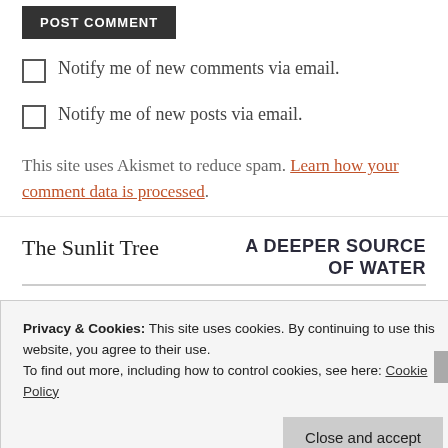POST COMMENT
Notify me of new comments via email.
Notify me of new posts via email.
This site uses Akismet to reduce spam. Learn how your comment data is processed.
The Sunlit Tree
A DEEPER SOURCE OF WATER
Privacy & Cookies: This site uses cookies. By continuing to use this website, you agree to their use.
To find out more, including how to control cookies, see here: Cookie Policy
Close and accept